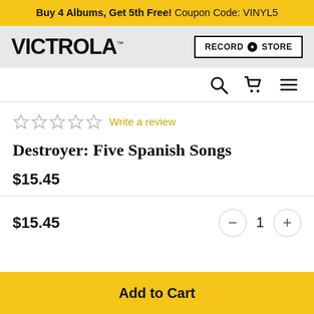Buy 4 Albums, Get 5th Free! Coupon Code: VINYL5
[Figure (logo): Victrola logo on grey background, with RECORD STORE button on the right]
[Figure (infographic): Navigation icons: search (magnifying glass), shopping cart, hamburger menu]
Write a review
Destroyer: Five Spanish Songs
$15.45
$15.45
1
Add to Cart